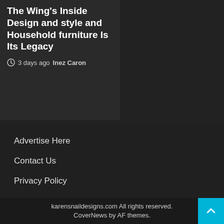The Wing's Inside Design and style and Household furniture Is Its Legacy
3 days ago  Inez Caron
Advertise Here
Contact Us
Privacy Policy
karensnaildesigns.com All rights reserved. CoverNews by AF themes.